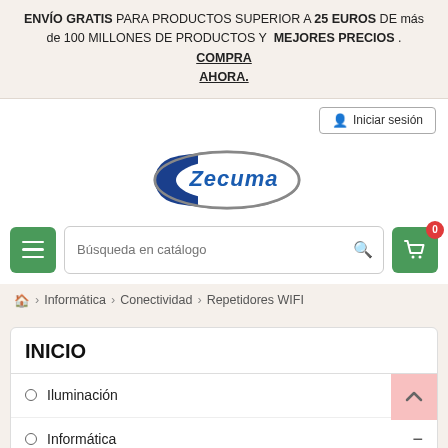ENVÍO GRATIS PARA PRODUCTOS SUPERIOR A 25 EUROS DE más de 100 MILLONES DE PRODUCTOS Y MEJORES PRECIOS . COMPRA AHORA.
Iniciar sesión
[Figure (logo): Zecuma company logo - oval shape with blue and grey border, blue text 'Zecuma' in italic on white background]
Búsqueda en catálogo
🏠 > Informática > Conectividad > Repetidores WIFI
INICIO
Iluminación
Informática